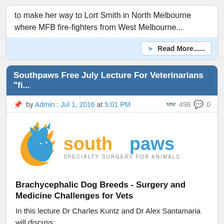to make her way to Lort Smith in North Melbourne where MFB fire-fighters from West Melbourne...
Read More......
Southpaws Free July Lecture For Veterinarians "fi...
by Admin : Jul 1, 2016 at 5:01 PM   498   0
[Figure (logo): Southpaws Specialty Surgery for Animals logo - orange flame/paw shape with blue cat silhouette, text 'southpaws SPECIALTY SURGERY FOR ANIMALS']
Brachycephalic Dog Breeds - Surgery and Medicine Challenges for Vets
In this lecture Dr Charles Kuntz and Dr Alex Santamaria will discuss: